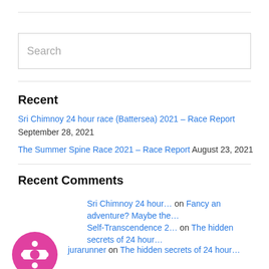Search
Recent
Sri Chimnoy 24 hour race (Battersea) 2021 – Race Report September 28, 2021
The Summer Spine Race 2021 – Race Report August 23, 2021
Recent Comments
Sri Chimnoy 24 hour… on Fancy an adventure? Maybe the…
Self-Transcendence 2… on The hidden secrets of 24 hour…
jurarunner on The hidden secrets of 24 hour…